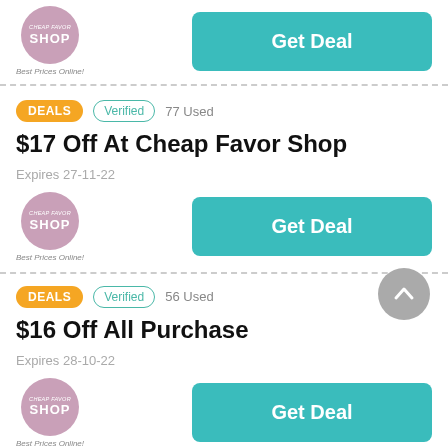[Figure (logo): Cheap Favor Shop logo - pink circle with SHOP text]
Get Deal
DEALS  Verified  77 Used
$17 Off At Cheap Favor Shop
Expires 27-11-22
[Figure (logo): Cheap Favor Shop logo - pink circle with SHOP text]
Get Deal
DEALS  Verified  56 Used
$16 Off All Purchase
Expires 28-10-22
[Figure (logo): Cheap Favor Shop logo - pink circle with SHOP text]
Get Deal